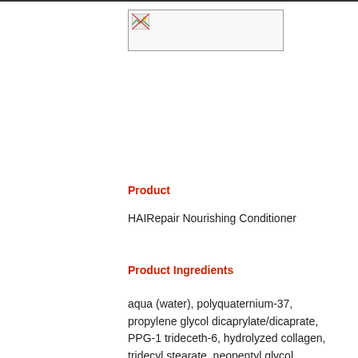[Figure (other): Placeholder image box with broken image icon]
Product
HAIRepair Nourishing Conditioner
Product Ingredients
aqua (water), polyquaternium-37, propylene glycol dicaprylate/dicaprate, PPG-1 trideceth-6, hydrolyzed collagen, tridecyl stearate, neopentyl glycol dicaprylate/dicaprate, tridecyl